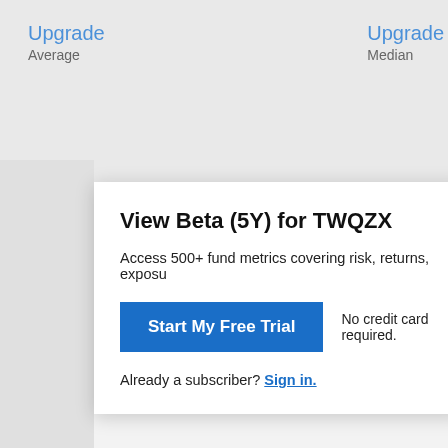Upgrade
Average
Upgrade
Median
View Beta (5Y) for TWQZX
Access 500+ fund metrics covering risk, returns, exposu
Start My Free Trial
No credit card required.
Already a subscriber? Sign in.
Bridge Builder Large Cap Value
Beta (5Y) Related Metrics
Alpha (5Y)